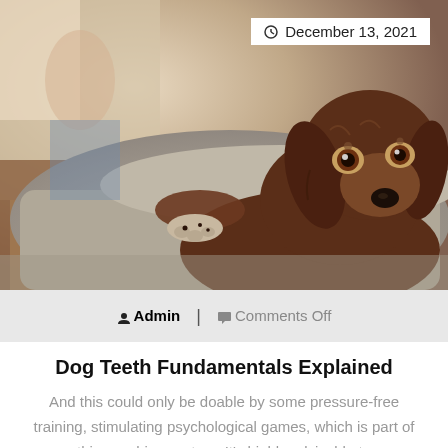[Figure (photo): A brown/chocolate spaniel dog resting its chin on the back of a grey sofa, looking at the camera with wide eyes. A person is blurred in the background. Indoor setting with warm natural light.]
December 13, 2021
Admin | Comments Off
Dog Teeth Fundamentals Explained
And this could only be doable by some pressure-free training, stimulating psychological games, which is part of this coaching system. It's highly advisable to